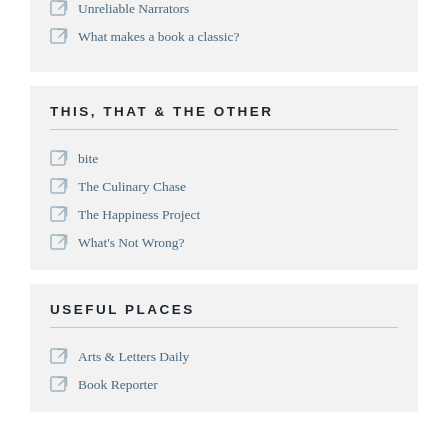Unreliable Narrators
What makes a book a classic?
THIS, THAT & THE OTHER
bite
The Culinary Chase
The Happiness Project
What's Not Wrong?
USEFUL PLACES
Arts & Letters Daily
Book Reporter